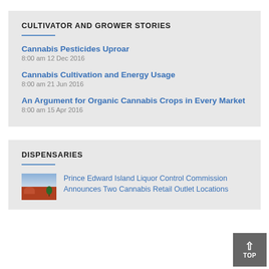CULTIVATOR AND GROWER STORIES
Cannabis Pesticides Uproar
8:00 am 12 Dec 2016
Cannabis Cultivation and Energy Usage
8:00 am 21 Jun 2016
An Argument for Organic Cannabis Crops in Every Market
8:00 am 15 Apr 2016
DISPENSARIES
Prince Edward Island Liquor Control Commission Announces Two Cannabis Retail Outlet Locations